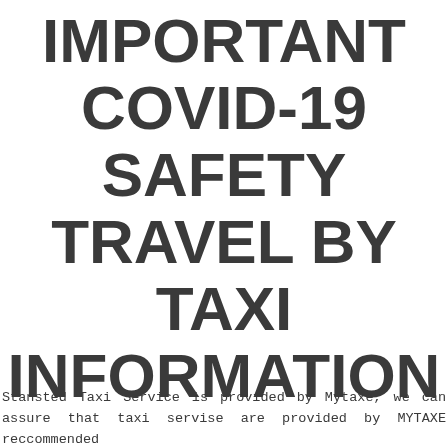IMPORTANT COVID-19 SAFETY TRAVEL BY TAXI INFORMATION
Stansted Taxi Service is provided by Mytaxe, we can assure that taxi servise are provided by MYTAXE reccommended